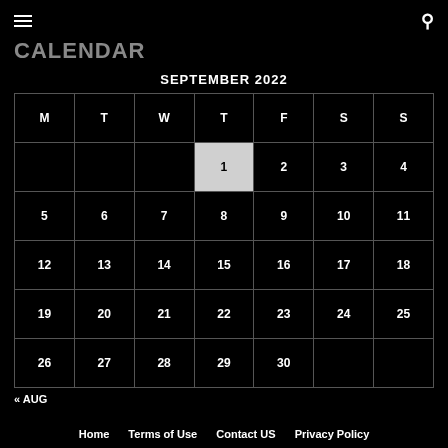≡  🔍
CALENDAR
SEPTEMBER 2022
| M | T | W | T | F | S | S |
| --- | --- | --- | --- | --- | --- | --- |
|  |  |  | 1 | 2 | 3 | 4 |
| 5 | 6 | 7 | 8 | 9 | 10 | 11 |
| 12 | 13 | 14 | 15 | 16 | 17 | 18 |
| 19 | 20 | 21 | 22 | 23 | 24 | 25 |
| 26 | 27 | 28 | 29 | 30 |  |  |
« AUG
Home   Terms of Use   Contact US   Privacy Policy